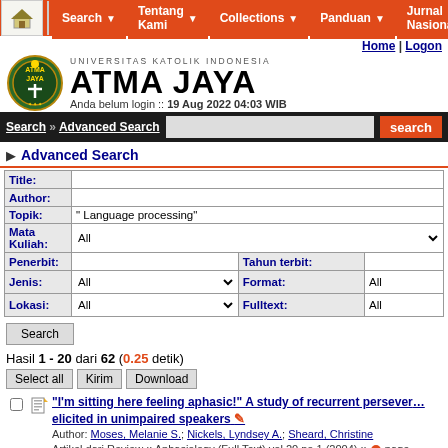Search | Tentang Kami | Collections | Panduan | Jurnal Nasional
[Figure (logo): Universitas Katolik Indonesia Atma Jaya logo with crest]
UNIVERSITAS KATOLIK INDONESIA ATMA JAYA
Home | Logon
Anda belum login :: 19 Aug 2022 04:03 WIB
Search » Advanced Search
Advanced Search
| Field | Value |
| --- | --- |
| Title: |  |
| Author: |  |
| Topik: | " Language processing" |
| Mata Kuliah: | All |
| Penerbit: |  | Tahun terbit: |  |
| Jenis: | All | Format: | All |
| Lokasi: | All | Fulltext: | All |
Hasil 1 - 20 dari 62 (0.25 detik)
Select all   Kirim   Download
"I'm sitting here feeling aphasic!" A study of recurrent perseveration elicited in unimpaired speakers
Author: Moses, Melanie S.; Nickels, Lyndsey A.; Sheard, Christine
Artikel dari Review :: Aphasiology (Full Text) vol.20 no.1 (2004) :: page 157-...